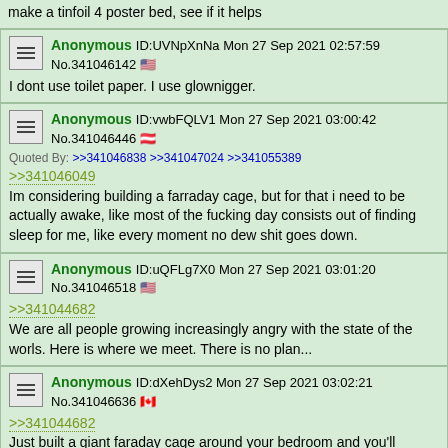make a tinfoil 4 poster bed, see if it helps
Anonymous ID:UVNpXnNa Mon 27 Sep 2021 02:57:59 No.341046142 🇺🇸
I dont use toilet paper. I use glownigger.
Anonymous ID:vwbFQLV1 Mon 27 Sep 2021 03:00:42 No.341046446 🇦🇹
Quoted By: >>341046838 >>341047024 >>341055389
>>341046049
Im considering building a farraday cage, but for that i need to be actually awake, like most of the fucking day consists out of finding sleep for me, like every moment no dew shit goes down.
Anonymous ID:uQFLg7X0 Mon 27 Sep 2021 03:01:20 No.341046518 🇺🇸
>>341044682
We are all people growing increasingly angry with the state of the worls. Here is where we meet. There is no plan...
Anonymous ID:dXehDys2 Mon 27 Sep 2021 03:02:21 No.341046636 🇨🇦
>>341044682
Just built a giant faraday cage around your bedroom and you'll